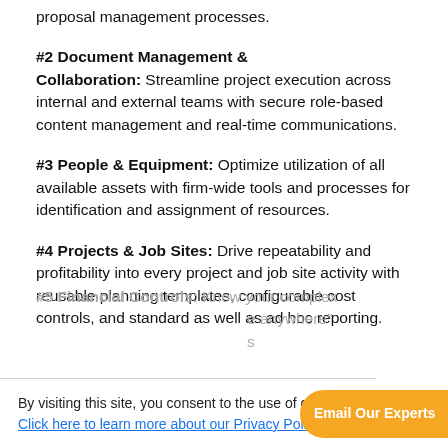proposal management processes.
#2 Document Management & Collaboration: Streamline project execution across internal and external teams with secure role-based content management and real-time communications.
#3 People & Equipment: Optimize utilization of all available assets with firm-wide tools and processes for identification and assignment of resources.
#4 Projects & Job Sites: Drive repeatability and profitability into every project and job site activity with reusable planning templates, configurable cost controls, and standard as well as ad hoc reporting.
#5 Financial Controls: Know... ur complex ... e anywhere" ... s
By visiting this site, you consent to the use of cookies. Click here to learn more about our Privacy Policy.